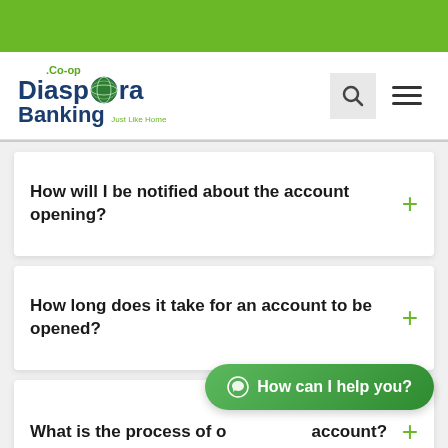[Figure (screenshot): Green banner bar at top of page]
[Figure (logo): Co-op Diaspora Banking logo with globe icon and tagline 'Just Like Home']
How will I be notified about the account opening?
How long does it take for an account to be opened?
What is the process of opening an account?
How can I help you?